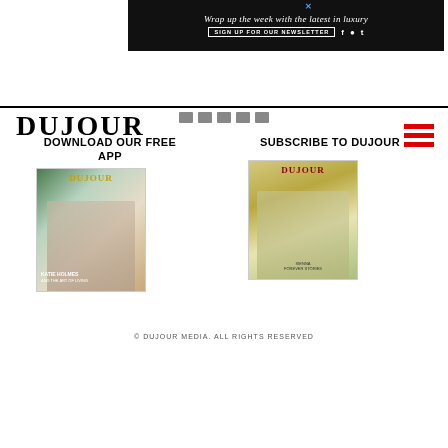[Figure (screenshot): Black advertisement banner reading 'Wrap up the week with the latest in luxury' with SIGN UP FOR OUR NEWSLETTER button and social media icons (Facebook, Instagram, Twitter)]
[Figure (logo): DUJOUR magazine logo in large serif font, black text]
[Figure (illustration): Red hamburger menu icon (three red horizontal lines) top right]
DOWNLOAD OUR FREE APP
SUBSCRIBE TO DUJOUR
[Figure (photo): DuJour magazine cover with a woman posing near a window, KATIE HOLMES text at bottom]
[Figure (photo): DuJour magazine cover with a woman in yellow outfit sitting at a restaurant table, SIENNA text visible]
© DUJOUR MEDIA. ALL RIGHTS RESERVED